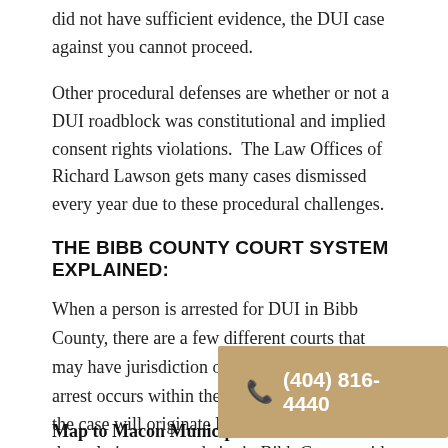did not have sufficient evidence, the DUI case against you cannot proceed.
Other procedural defenses are whether or not a DUI roadblock was constitutional and implied consent rights violations.  The Law Offices of Richard Lawson gets many cases dismissed every year due to these procedural challenges.
THE BIBB COUNTY COURT SYSTEM EXPLAINED:
When a person is arrested for DUI in Bibb County, there are a few different courts that may have jurisdiction over the case.  If the arrest occurs within the city limits of Macon, the case will originate Macon Municipal Court, the only incorporated city in Bibb County with its own court system.
Map to Macon Municipal Court:
📞 (404) 816-4440